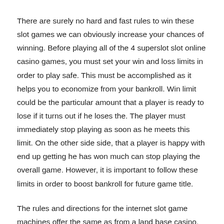There are surely no hard and fast rules to win these slot games we can obviously increase your chances of winning. Before playing all of the 4 superslot slot online casino games, you must set your win and loss limits in order to play safe. This must be accomplished as it helps you to economize from your bankroll. Win limit could be the particular amount that a player is ready to lose if it turns out if he loses the. The player must immediately stop playing as soon as he meets this limit. On the other side side, that a player is happy with end up getting he has won much can stop playing the overall game. However, it is important to follow these limits in order to boost bankroll for future game title.
The rules and directions for the internet slot game machines offer the same as from a land base casino. First it is decided to how much money did to stimulate. After that, the decision about what number of coins to place bet with spin happens to come. With the online slot machines, one can opt between 1, 3 and afterwards it